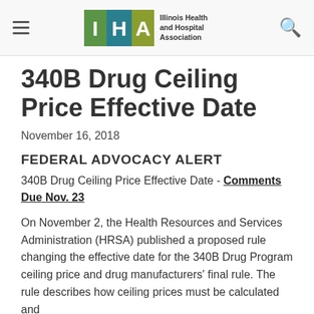Illinois Health and Hospital Association
340B Drug Ceiling Price Effective Date
November 16, 2018
FEDERAL ADVOCACY ALERT
340B Drug Ceiling Price Effective Date - Comments Due Nov. 23
On November 2, the Health Resources and Services Administration (HRSA) published a proposed rule changing the effective date for the 340B Drug Program ceiling price and drug manufacturers' final rule. The rule describes how ceiling prices must be calculated and